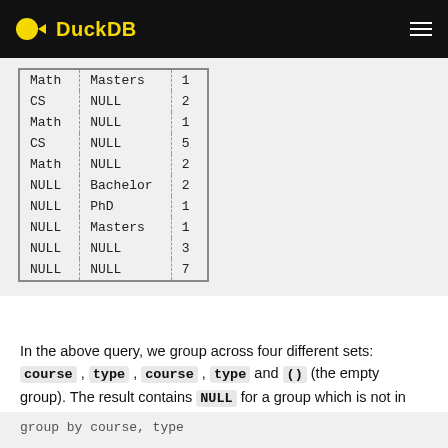DuckDB
| Math | Masters | 1 |
| CS | NULL | 2 |
| Math | NULL | 1 |
| CS | NULL | 5 |
| Math | NULL | 2 |
| NULL | Bachelor | 2 |
| NULL | PhD | 1 |
| NULL | Masters | 1 |
| NULL | NULL | 3 |
| NULL | NULL | 7 |
In the above query, we group across four different sets:  course , type , course , type and () (the empty group). The result contains NULL for a group which is not in the grouping set for the result, i.e. the above query is equivalent to the following UNION statement: